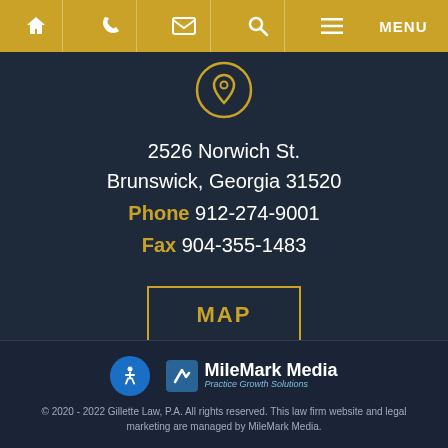Navigation bar with home, phone, email, search, menu icons
[Figure (illustration): Location pin icon in gold circle outline on dark navy background]
2526 Norwich St.
Brunswick, Georgia 31520
Phone 912-274-9001
Fax 904-355-1483
MAP
[Figure (logo): MileMark Media Practice Growth Solutions logo with accessibility icon]
© 2020 - 2022 Gillette Law, P.A. All rights reserved. This law firm website and legal marketing are managed by MileMark Media.